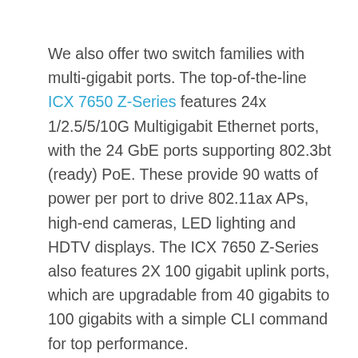We also offer two switch families with multi-gigabit ports. The top-of-the-line ICX 7650 Z-Series features 24x 1/2.5/5/10G Multigigabit Ethernet ports, with the 24 GbE ports supporting 802.3bt (ready) PoE. These provide 90 watts of power per port to drive 802.11ax APs, high-end cameras, LED lighting and HDTV displays. The ICX 7650 Z-Series also features 2X 100 gigabit uplink ports, which are upgradable from 40 gigabits to 100 gigabits with a simple CLI command for top performance.
Meanwhile, the Ruckus ICX 7150 Z-Series delivers multi-gigabit connectivity in an entry-level switch. It features 16 2.5 GbE ports and